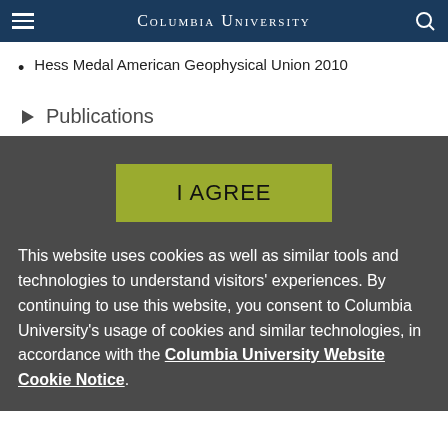Columbia University
Hess Medal American Geophysical Union 2010
Publications
I AGREE
This website uses cookies as well as similar tools and technologies to understand visitors' experiences. By continuing to use this website, you consent to Columbia University's usage of cookies and similar technologies, in accordance with the Columbia University Website Cookie Notice.